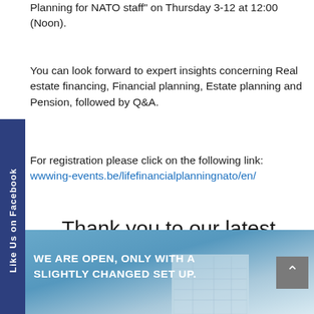Planning for NATO staff" on Thursday 3-12 at 12:00 (Noon).
You can look forward to expert insights concerning Real estate financing, Financial planning, Estate planning and Pension, followed by Q&A.
For registration please click on the following link: wwwing-events.be/lifefinancialplanningnato/en/
Thank you to our latest sponsor – BMW
[Figure (photo): Bottom banner with blue sky/building background and text 'WE ARE OPEN, ONLY WITH A SLIGHTLY CHANGED SET UP.' with a gray scroll-up arrow button on the right.]